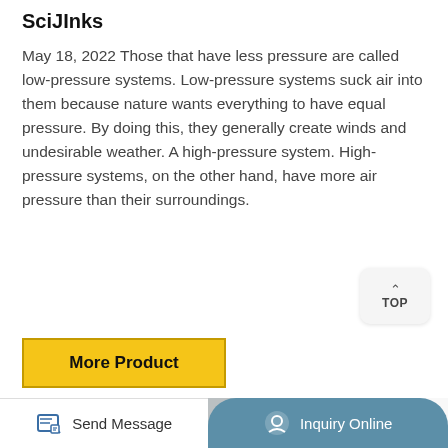SciJInks
May 18, 2022 Those that have less pressure are called low-pressure systems. Low-pressure systems suck air into them because nature wants everything to have equal pressure. By doing this, they generally create winds and undesirable weather. A high-pressure system. High-pressure systems, on the other hand, have more air pressure than their surroundings.
[Figure (other): Yellow 'More Product' button with black border]
[Figure (photo): Close-up photo of a circular black barometer/pressure gauge instrument with a rod attached, viewed from above at an angle]
[Figure (other): Bottom navigation bar with 'Send Message' on the left (white background) and 'Inquiry Online' on the right (teal/blue background with rounded top corners). Send Message has an edit/paper icon; Inquiry Online has a chat/headset icon.]